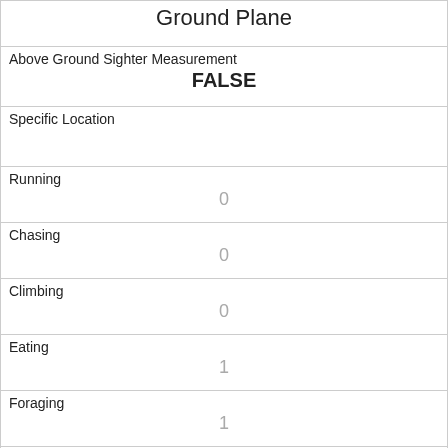| Ground Plane |
| Above Ground Sighter Measurement
FALSE |
| Specific Location |
| Running
0 |
| Chasing
0 |
| Climbing
0 |
| Eating
1 |
| Foraging
1 |
| Other Activities |
| Kuks
0 |
| Quaas
0 |